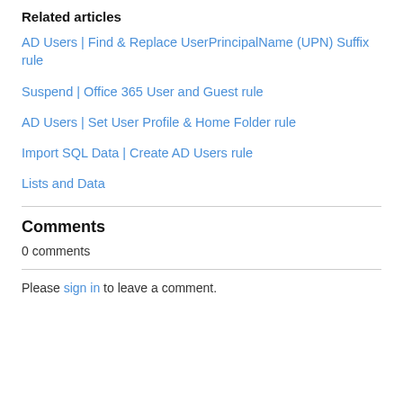Related articles
AD Users | Find & Replace UserPrincipalName (UPN) Suffix rule
Suspend | Office 365 User and Guest rule
AD Users | Set User Profile & Home Folder rule
Import SQL Data | Create AD Users rule
Lists and Data
Comments
0 comments
Please sign in to leave a comment.